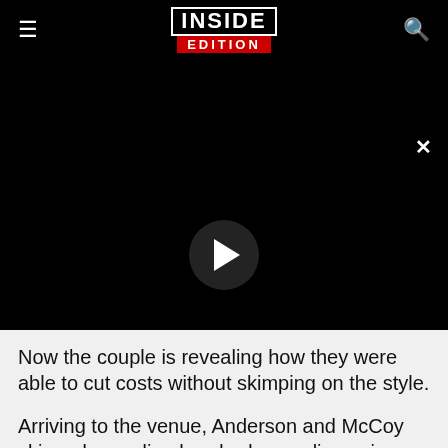INSIDE EDITION
[Figure (screenshot): Black video player area with a circular play button in the center and an X close button in the top right]
Now the couple is revealing how they were able to cut costs without skimping on the style.
Arriving to the venue, Anderson and McCoy skipped spending hundreds on a limousine,